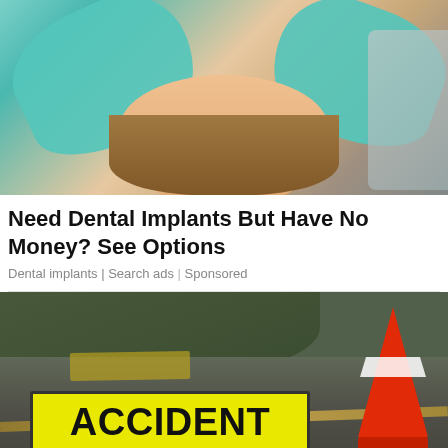[Figure (photo): Dental professional wearing teal/mint gloves examining or touching patient's face; patient is smiling with long brown hair; dental equipment visible in background]
Need Dental Implants But Have No Money? See Options
Dental implants | Search ads | Sponsored
[Figure (photo): Road scene with a yellow ACCIDENT sign on a stand in foreground; orange traffic cone visible on right side; blurred road and greenery in background]